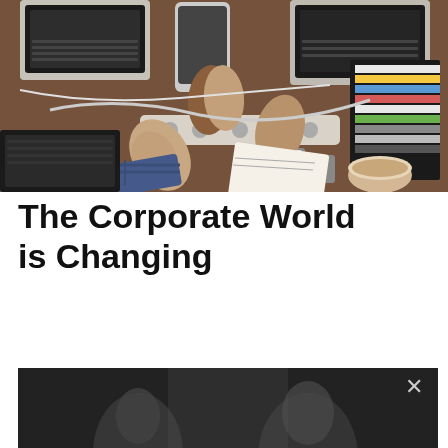[Figure (photo): Overhead view of people doing a fist bump over a wooden table covered with laptops, phones, notebooks, cables, and colorful materials. One person wears a checkered sleeve and a watch.]
The Corporate World is Changing
[Figure (photo): Dark/blurred video player or popup showing silhouettes of people, with an X close button in the upper right corner.]